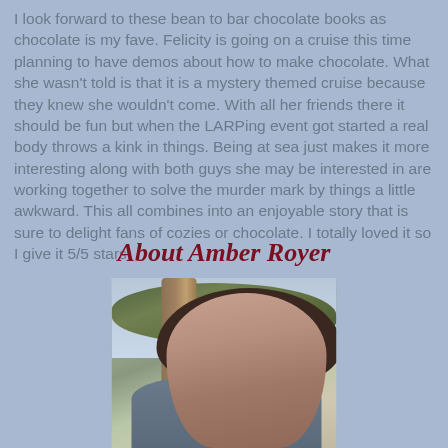I look forward to these bean to bar chocolate books as chocolate is my fave. Felicity is going on a cruise this time planning to have demos about how to make chocolate. What she wasn't told is that it is a mystery themed cruise because they knew she wouldn't come. With all her friends there it should be fun but when the LARPing event got started a real body throws a kink in things. Being at sea just makes it more interesting along with both guys she may be interested in are working together to solve the murder mark by things a little awkward. This all combines into an enjoyable story that is sure to delight fans of cozies or chocolate. I totally loved it so I give it 5/5 stars.
About Amber Royer
[Figure (photo): Portrait photo of Amber Royer, a woman with dark brown hair, photographed outdoors with a tree trunk and foliage visible in the background.]